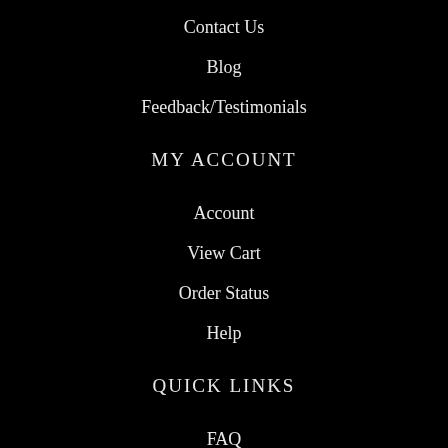Contact Us
Blog
Feedback/Testimonials
MY ACCOUNT
Account
View Cart
Order Status
Help
QUICK LINKS
FAQ